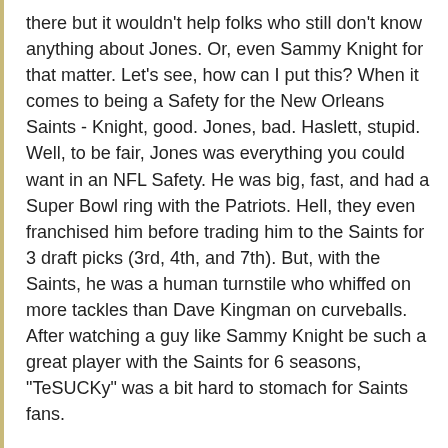there but it wouldn't help folks who still don't know anything about Jones. Or, even Sammy Knight for that matter. Let's see, how can I put this? When it comes to being a Safety for the New Orleans Saints - Knight, good. Jones, bad. Haslett, stupid. Well, to be fair, Jones was everything you could want in an NFL Safety. He was big, fast, and had a Super Bowl ring with the Patriots. Hell, they even franchised him before trading him to the Saints for 3 draft picks (3rd, 4th, and 7th). But, with the Saints, he was a human turnstile who whiffed on more tackles than Dave Kingman on curveballs. After watching a guy like Sammy Knight be such a great player with the Saints for 6 seasons, "TeSUCKy" was a bit hard to stomach for Saints fans.
Archie Manning (QB 1971-1982) - This is a player who doesn't need a short blurb, Bio, or introduction